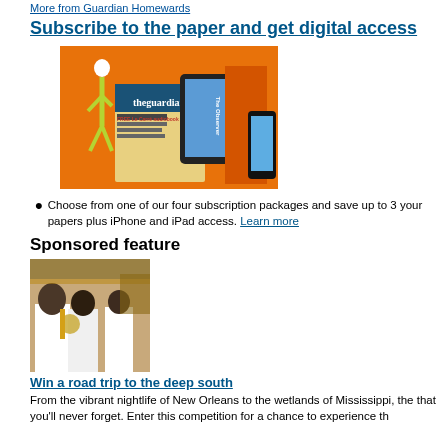More from Guardian Homewards
Subscribe to the paper and get digital access
[Figure (photo): Guardian and Observer newspaper subscription promotional image with tablet, phone and newspaper on orange background]
Choose from one of our four subscription packages and save up to 3... your papers plus iPhone and iPad access. Learn more
Sponsored feature
[Figure (photo): Photo of musicians in white shirts at a street parade in New Orleans]
Win a road trip to the deep south
From the vibrant nightlife of New Orleans to the wetlands of Mississippi, the... that you'll never forget. Enter this competition for a chance to experience the...